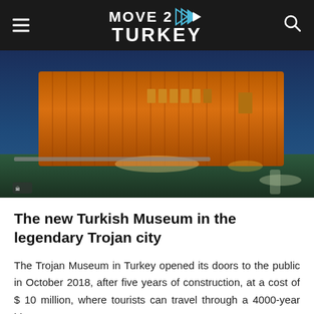MOVE 2 TURKEY
[Figure (photo): Night photograph of the Trojan Museum building in Turkey, showing a modern rectangular structure with illuminated warm-orange vertical wooden cladding, surrounded by green landscaped grounds with a pathway.]
The new Turkish Museum in the legendary Trojan city
The Trojan Museum in Turkey opened its doors to the public in October 2018, after five years of construction, at a cost of $ 10 million, where tourists can travel through a 4000-year history.
The museum displays 2,000 historical artifacts, including 24